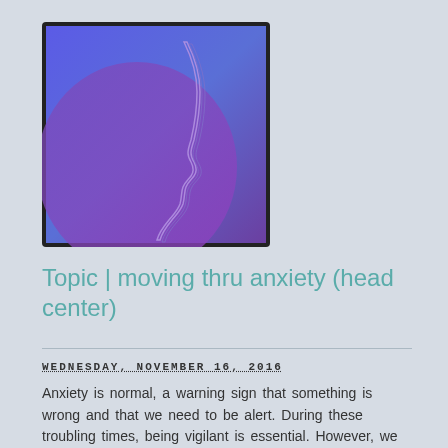[Figure (illustration): Square illustration with dark border showing a stylized human face profile (side view) in purple/violet tones against a blue-to-purple gradient background. The face outline is rendered as a light purple silhouette on the right side of the image.]
Topic | moving thru anxiety (head center)
WEDNESDAY, NOVEMBER 16, 2016
Anxiety is normal, a warning sign that something is wrong and that we need to be alert. During these troubling times, being vigilant is essential. However, we have to be vigilant in a way that doesn't consume us, paralyze us,